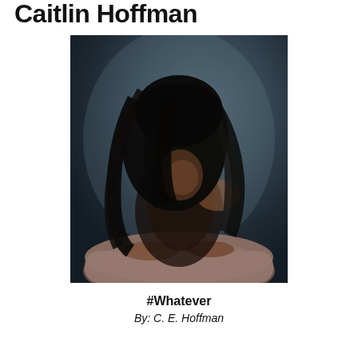Caitlin Hoffman
[Figure (photo): A woman with long dark hair draped over her face, leaning forward with her arms resting on the back of a pink/mauve upholstered chair. The background is a dark blue-gray gradient. Moody, low-key lighting with warm tones on the subject's shoulders and hands.]
#Whatever
By: C. E. Hoffman